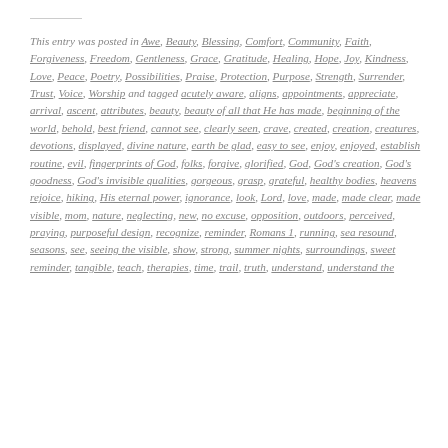This entry was posted in Awe, Beauty, Blessing, Comfort, Community, Faith, Forgiveness, Freedom, Gentleness, Grace, Gratitude, Healing, Hope, Joy, Kindness, Love, Peace, Poetry, Possibilities, Praise, Protection, Purpose, Strength, Surrender, Trust, Voice, Worship and tagged acutely aware, aligns, appointments, appreciate, arrival, ascent, attributes, beauty, beauty of all that He has made, beginning of the world, behold, best friend, cannot see, clearly seen, crave, created, creation, creatures, devotions, displayed, divine nature, earth be glad, easy to see, enjoy, enjoyed, establish routine, evil, fingerprints of God, folks, forgive, glorified, God, God's creation, God's goodness, God's invisible qualities, gorgeous, grasp, grateful, healthy bodies, heavens rejoice, hiking, His eternal power, ignorance, look, Lord, love, made, made clear, made visible, mom, nature, neglecting, new, no excuse, opposition, outdoors, perceived, praying, purposeful design, recognize, reminder, Romans 1, running, sea resound, seasons, see, seeing the visible, show, strong, summer nights, surroundings, sweet reminder, tangible, teach, therapies, time, trail, truth, understand, understand the